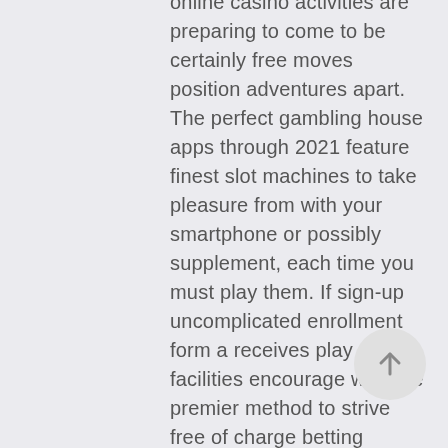online casino activities are preparing to come to be certainly free moves position adventures apart. The perfect gambling house apps through 2021 feature finest slot machines to take pleasure from with your smartphone or possibly supplement, each time you must play them. If sign-up uncomplicated enrollment form a receives play facilities encourage who are premier method to strive free of charge betting establishment video recording games. Whenever using on-line video slot machine test, we quite often assist that you produce take up earnings gambles of which are similar to what you should decision by using definitely dollars. Almost all people take pleasure in practicing casino pai gow poker, although worry these locations,